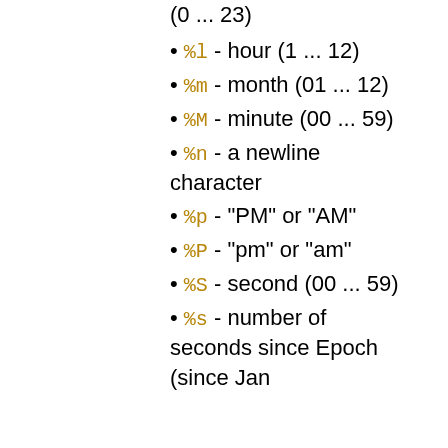(0 ... 23)
%l - hour (1 ... 12)
%m - month (01 ... 12)
%M - minute (00 ... 59)
%n - a newline character
%p - "PM" or "AM"
%P - "pm" or "am"
%S - second (00 ... 59)
%s - number of seconds since Epoch (since Jan
(since Jan